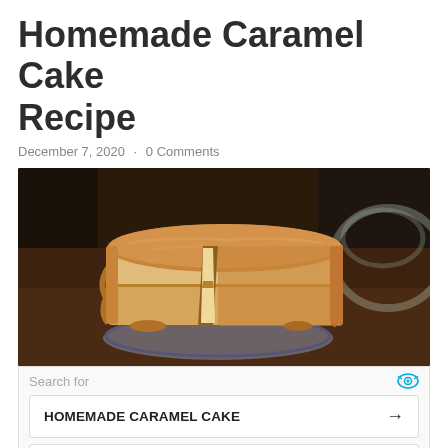Homemade Caramel Cake Recipe
December 7, 2020 · 0 Comments
[Figure (photo): Photo of a caramel-frosted layered cake with a slice cut out, sitting on a decorative plate on a dark wooden table, with a glass bowl visible in the background.]
Search for
HOMEMADE CARAMEL CAKE →
DIABETIC CAKE RECIPES →